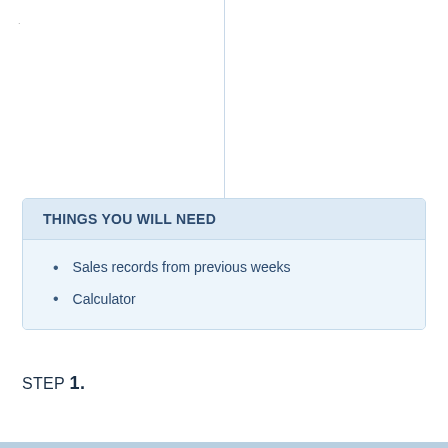THINGS YOU WILL NEED
Sales records from previous weeks
Calculator
STEP 1.